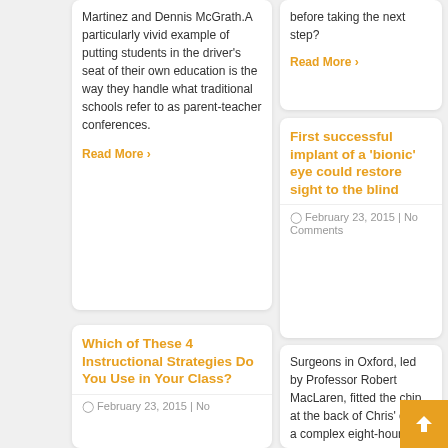Martinez and Dennis McGrath.A particularly vivid example of putting students in the driver's seat of their own education is the way they handle what traditional schools refer to as parent-teacher conferences.
Read More ›
before taking the next step?
Read More ›
First successful implant of a 'bionic' eye could restore sight to the blind
February 23, 2015 | No Comments
Surgeons in Oxford, led by Professor Robert MacLaren, fitted the chip at the back of Chris' eye in a complex eight-hour
Which of These 4 Instructional Strategies Do You Use in Your Class?
February 23, 2015 | No